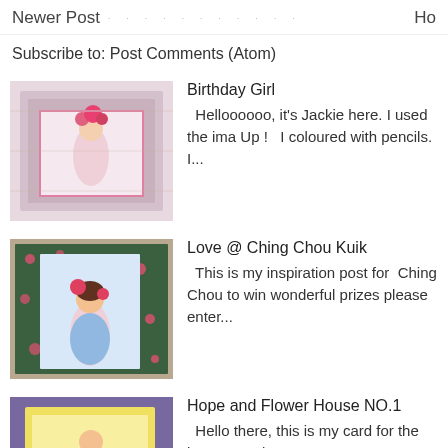Newer Post · · · · · · · · · · · Ho
Subscribe to: Post Comments (Atom)
[Figure (photo): Birthday Girl card thumbnail - girl with flowers]
Birthday Girl
Helloooooo, it's Jackie here. I used the ima Up !  I coloured with pencils. I...
[Figure (photo): Love @ Ching Chou Kuik card thumbnail - girl with flowers on patterned background]
Love @ Ching Chou Kuik
This is my inspiration post for  Ching Chou to win wonderful prizes please enter...
[Figure (photo): Hope and Flower House NO.1 card thumbnail - floral card on yellow background]
Hope and Flower House NO.1
Hello there, this is my card for the latest  61 Please enter  HERE , we love to s...
[Figure (photo): Cocktails card thumbnail - colorful cocktail illustration]
Cocktails
Anyone for a Cocktail?? Oh, yes please. Th